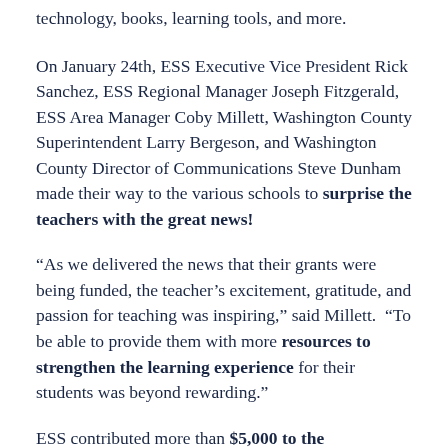technology, books, learning tools, and more.
On January 24th, ESS Executive Vice President Rick Sanchez, ESS Regional Manager Joseph Fitzgerald, ESS Area Manager Coby Millett, Washington County Superintendent Larry Bergeson, and Washington County Director of Communications Steve Dunham made their way to the various schools to surprise the teachers with the great news!
“As we delivered the news that their grants were being funded, the teacher’s excitement, gratitude, and passion for teaching was inspiring,” said Millett.  “To be able to provide them with more resources to strengthen the learning experience for their students was beyond rewarding.”
ESS contributed more than $5,000 to the Washington County School District Foundation to fund these grants. The purpose of the Foundation is to enhance the quality of education for Washington County students by providing